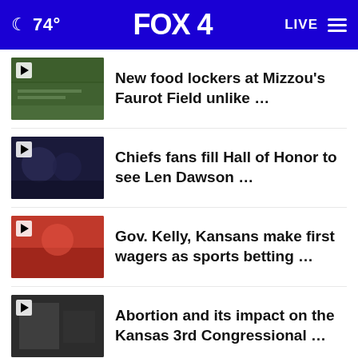74° FOX 4 LIVE
New food lockers at Mizzou's Faurot Field unlike …
Chiefs fans fill Hall of Honor to see Len Dawson …
Gov. Kelly, Kansans make first wagers as sports betting …
Abortion and its impact on the Kansas 3rd Congressional …
Johnson County approves $1.6B budget for 2023
More Stories ›